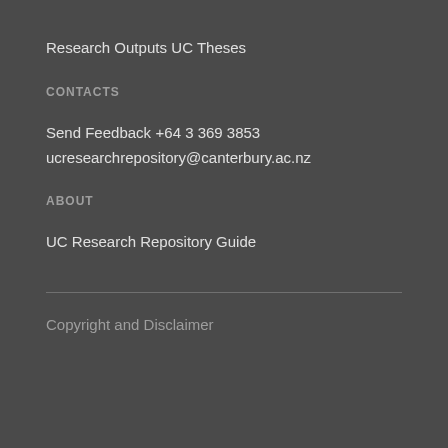Research Outputs
UC Theses
CONTACTS
Send Feedback
+64 3 369 3853
ucresearchrepository@canterbury.ac.nz
ABOUT
UC Research Repository Guide
Copyright and Disclaimer